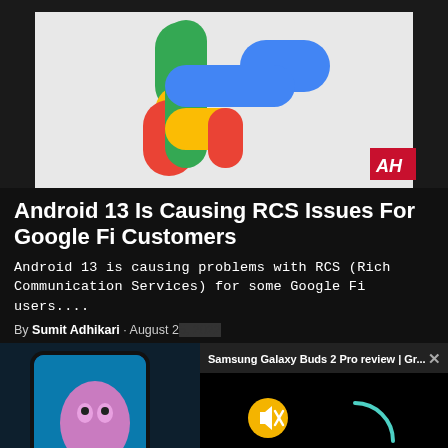[Figure (photo): Google Fi logo on a smartphone screen — colorful pill-shaped letters in green, yellow, orange, red, and blue on white background, with AH watermark bottom right]
Android 13 Is Causing RCS Issues For Google Fi Customers
Android 13 is causing problems with RCS (Rich Communication Services) for some Google Fi users....
By Sumit Adhikari · August 2[5, 2022]
[Figure (screenshot): Video player overlay bar showing 'Samsung Galaxy Buds 2 Pro review | Gr...' with close X button, mute button (yellow circle with mute icon), and loading arc spinner on black background]
[Figure (photo): Smartphone with a cartoon/anime character on screen (pink creature), dark background]